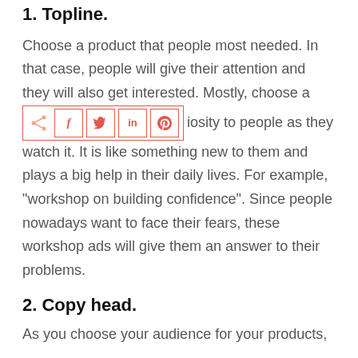1. Topline.
Choose a product that people most needed. In that case, people will give their attention and they will also get interested. Mostly, choose a [social share bar] iosity to people as they watch it. It is like something new to them and plays a big help in their daily lives. For example, “workshop on building confidence”. Since people nowadays want to face their fears, these workshop ads will give them an answer to their problems.
2. Copy head.
As you choose your audience for your products,